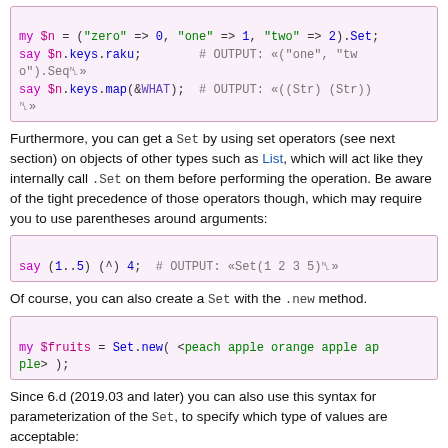[Figure (screenshot): Code block showing Raku code: my $n = ("zero" => 0, "one" => 1, "two" => 2).Set; say $n.keys.raku; # OUTPUT: «("one", "two").Seq␤» say $n.keys.map(&WHAT); # OUTPUT: «((Str) (Str))␤»]
Furthermore, you can get a Set by using set operators (see next section) on objects of other types such as List, which will act like they internally call .Set on them before performing the operation. Be aware of the tight precedence of those operators though, which may require you to use parentheses around arguments:
[Figure (screenshot): Code block: say (1..5) (^) 4;  # OUTPUT: «Set(1 2 3 5)␤»]
Of course, you can also create a Set with the .new method.
[Figure (screenshot): Code block: my $fruits = Set.new( <peach apple orange apple apple> );]
Since 6.d (2019.03 and later) you can also use this syntax for parameterization of the Set, to specify which type of values are acceptable:
[Figure (screenshot): Code block: # only allow strings (Str) in the Set
my $fruits = Set[Str].new( <peach apple orange apple apple> );]